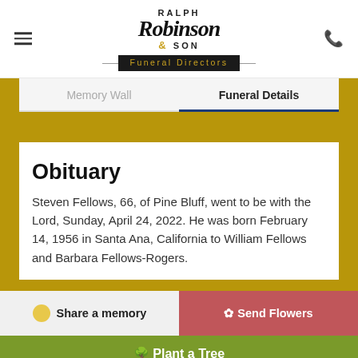[Figure (logo): Ralph Robinson & Son Funeral Directors logo with script font and decorative lines]
Memory Wall
Funeral Details
Obituary
Steven Fellows, 66, of Pine Bluff, went to be with the Lord, Sunday, April 24, 2022. He was born February 14, 1956 in Santa Ana, California to William Fellows and Barbara Fellows-Rogers.
Share a memory
Send Flowers
Plant a Tree